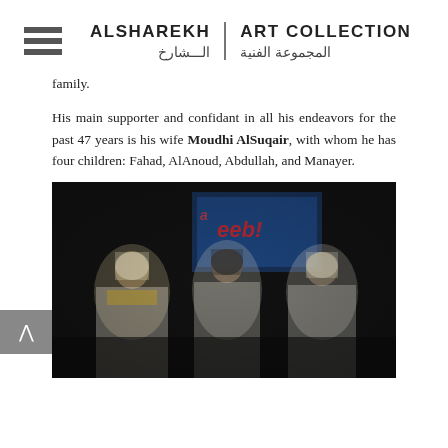ALSHAREKH | ART COLLECTION / الشارخ | المجموعة الفنية
family.
His main supporter and confidant in all his endeavors for the past 47 years is his wife Moudhi AlSuqair, with whom he has four children: Fahad, AlAnoud, Abdullah, and Manayer.
[Figure (photo): Three men in traditional Arab dress (white thobes and headscarves) posing together at an event; a colorful banner/sign is visible in the background.]